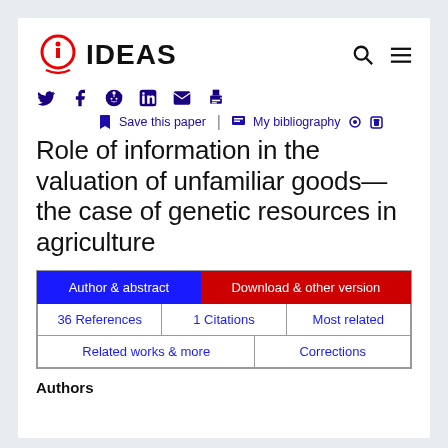[Figure (logo): IDEAS logo: circular icon with letter i in red, underlined in red, followed by bold text IDEAS]
Save this paper   My bibliography
Role of information in the valuation of unfamiliar goods—the case of genetic resources in agriculture
Author & abstract   Download & other version   36 References   1 Citations   Most related   Related works & more   Corrections
Authors